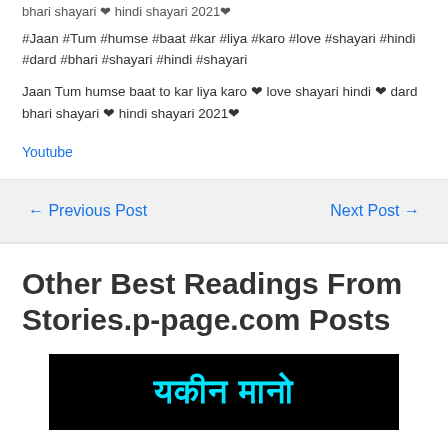bhari shayari ❤ hindi shayari 2021❤
#Jaan #Tum #humse #baat #kar #liya #karo #love #shayari #hindi #dard #bhari #shayari #hindi #shayari
Jaan Tum humse baat to kar liya karo ❤ love shayari hindi ❤ dard bhari shayari ❤ hindi shayari 2021❤
Youtube
← Previous Post
Next Post →
Other Best Readings From Stories.p-page.com Posts
[Figure (photo): Black background image with cyan/turquoise Hindi text reading यकीन मानो]